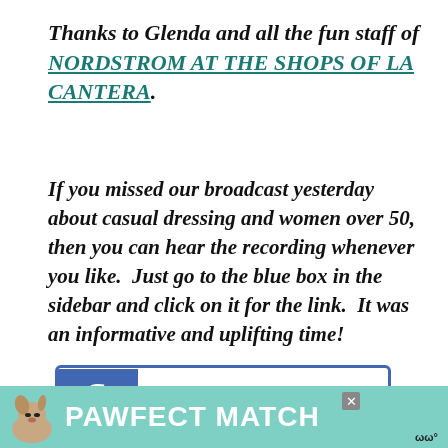Thanks to Glenda and all the fun staff of NORDSTROM AT THE SHOPS OF LA CANTERA.
If you missed our broadcast yesterday about casual dressing and women over 50, then you can hear the recording whenever you like.  Just go to the blue box in the sidebar and click on it for the link.  It was an informative and uplifting time!
[Figure (screenshot): Facebook 'Like us on' button box with Facebook logo on left and thumbs-up like icon with text 'Like us on' and a blue bar below]
[Figure (screenshot): Advertisement banner for 'PAWFECT MATCH' with a dog image on teal background]